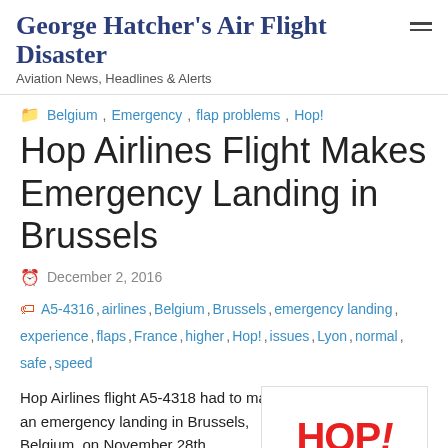George Hatcher's Air Flight Disaster — Aviation News, Headlines & Alerts
Belgium, Emergency, flap problems, Hop!
Hop Airlines Flight Makes Emergency Landing in Brussels
December 2, 2016
A5-4316, airlines, Belgium, Brussels, emergency landing, experience, flaps, France, higher, Hop!, issues, Lyon, normal, safe, speed
Hop Airlines flight A5-4318 had to make an emergency landing in Brussels, Belgium, on November 28th,
[Figure (logo): HOP! airline logo in bold red text with italic exclamation mark, inside a bordered box]